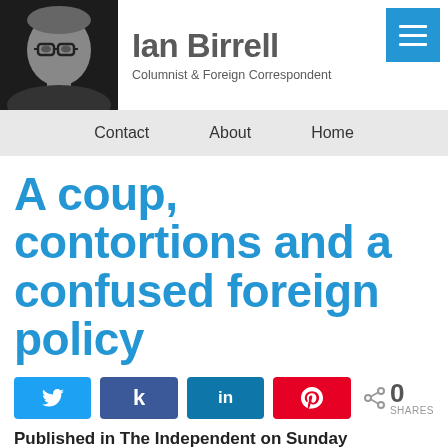[Figure (photo): Black and white headshot photo of Ian Birrell, a man with glasses and grey/white hair]
Ian Birrell
Columnist & Foreign Correspondent
[Figure (other): Hamburger menu button icon (three horizontal lines) on blue background]
Contact   About   Home
A coup, contortions and a confused foreign policy
[Figure (other): Social sharing buttons: Twitter (blue), Facebook (dark blue k), LinkedIn (dark blue in), Pinterest (red pin icon), and share count showing 0 SHARES]
Published in The Independent on Sunday